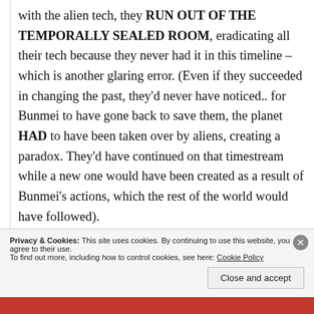with the alien tech, they RUN OUT OF THE TEMPORALLY SEALED ROOM, eradicating all their tech because they never had it in this timeline – which is another glaring error. (Even if they succeeded in changing the past, they'd never have noticed.. for Bunmei to have gone back to save them, the planet HAD to have been taken over by aliens, creating a paradox. They'd have continued on that timestream while a new one would have been created as a result of Bunmei's actions, which the rest of the world would have followed).
Privacy & Cookies: This site uses cookies. By continuing to use this website, you agree to their use.
To find out more, including how to control cookies, see here: Cookie Policy
Close and accept